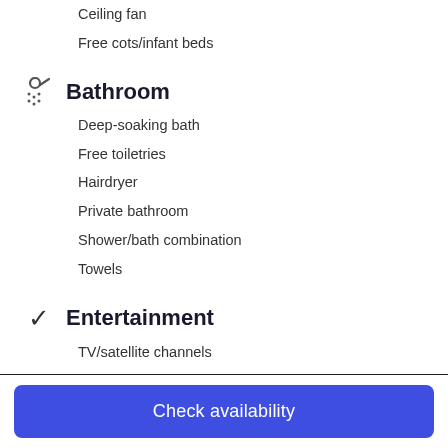Ceiling fan
Free cots/infant beds
Bathroom
Deep-soaking bath
Free toiletries
Hairdryer
Private bathroom
Shower/bath combination
Towels
Entertainment
TV/satellite channels
DVD player
Films for purchase
TV
Check availability